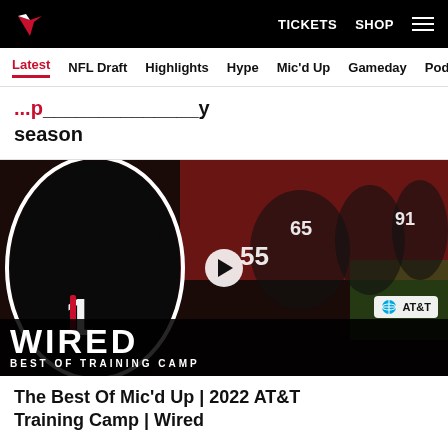Atlanta Falcons | TICKETS  SHOP
Latest  NFL Draft  Highlights  Hype  Mic'd Up  Gameday  Pod
...season
[Figure (screenshot): Video thumbnail for 'The Best Of Mic'd Up | 2022 AT&T Training Camp | Wired' featuring an Atlanta Falcons player in black jersey and team celebrating in background, with WIRED BEST OF TRAINING CAMP overlay and AT&T badge]
The Best Of Mic'd Up | 2022 AT&T Training Camp | Wired